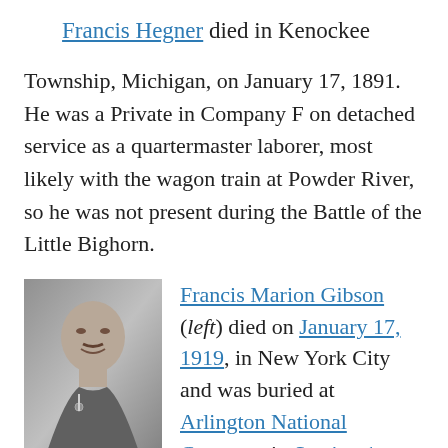Francis Hegner died in Kenockee Township, Michigan, on January 17, 1891. He was a Private in Company F on detached service as a quartermaster laborer, most likely with the wagon train at Powder River, so he was not present during the Battle of the Little Bighorn.
[Figure (photo): Black and white portrait photograph of Francis Marion Gibson in military uniform]
Francis Marion Gibson (left) died on January 17, 1919, in New York City and was buried at Arlington National Cemetery in Section 1, Grave 107. He was a First Lieutenant in Company H who performed scouting duty and participated in